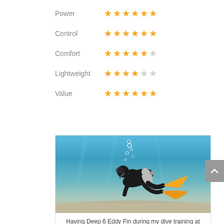Power ★★★★★★
Control ★★★★★★
Comfort ★★★★★☆
Lightweight ★★★★☆☆
Value ★★★★★★
[Figure (photo): Scuba diver underwater with orange fins (Deep 6 Eddy Fin) near the sandy seabed at Pulau Weh, with air bubbles rising.]
Having Deep 6 Eddy Fin during my dive training at Pulau Weh